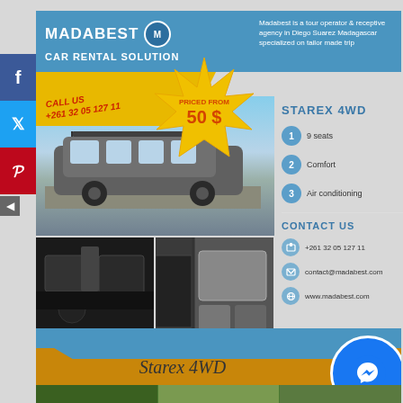MADABEST CAR RENTAL SOLUTION
Madabest is a tour operator & receptive agency in Diego Suarez Madagascar specialized on tailor made trip
CALL US +261 32 05 127 11
PRICED FROM 50 $
[Figure (photo): Exterior photo of Starex 4WD van parked outdoors]
[Figure (photo): Interior photo of car showing dashboard and seats]
[Figure (photo): Interior photo showing side door and seats]
STAREX 4WD
9 seats
Comfort
Air conditioning
CONTACT US
+261 32 05 127 11
contact@madabest.com
www.madabest.com
Starex 4WD